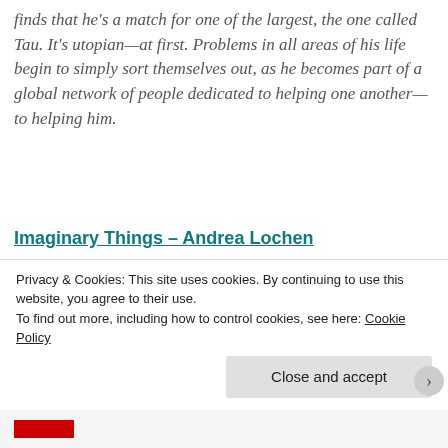finds that he's a match for one of the largest, the one called Tau. It's utopian—at first. Problems in all areas of his life begin to simply sort themselves out, as he becomes part of a global network of people dedicated to helping one another—to helping him.
Imaginary Things – Andrea Lochen
Watching children play and invent whimsical games of fantasy is one of life's great joys. But what if you could actually see their...
[Figure (photo): Book cover of 'Imaginary Things' — dark blue/purple tones with text 'imaginary things' in white italic serif font]
Privacy & Cookies: This site uses cookies. By continuing to use this website, you agree to their use. To find out more, including how to control cookies, see here: Cookie Policy